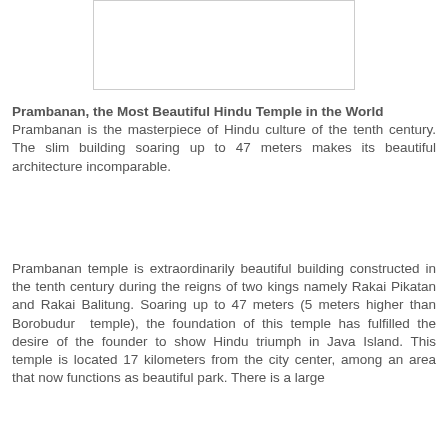[Figure (photo): A rectangular image placeholder (white box with border) representing a photo of Prambanan temple]
Prambanan, the Most Beautiful Hindu Temple in the World
Prambanan is the masterpiece of Hindu culture of the tenth century. The slim building soaring up to 47 meters makes its beautiful architecture incomparable.
Prambanan temple is extraordinarily beautiful building constructed in the tenth century during the reigns of two kings namely Rakai Pikatan and Rakai Balitung. Soaring up to 47 meters (5 meters higher than Borobudur temple), the foundation of this temple has fulfilled the desire of the founder to show Hindu triumph in Java Island. This temple is located 17 kilometers from the city center, among an area that now functions as beautiful park. There is a large...